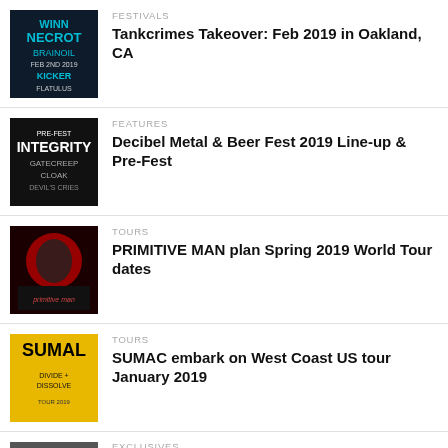[Figure (photo): Concert poster showing Necrot, Brainoil, Kicker, Flatulus bands for Tankcrimes event Feb 2nd 2019, dark background with blue text]
FESTIVALS
Tankcrimes Takeover: Feb 2019 in Oakland, CA
[Figure (photo): Black and white concert poster showing Integrity, Gatecreep, Cloak, Devil's Cries for Decibel Metal Pre-Fest]
FEATURES
Decibel Metal & Beer Fest 2019 Line-up & Pre-Fest
[Figure (photo): Dark red and black concert poster for Primitive Man showing a figure on red background]
TOURS
PRIMITIVE MAN plan Spring 2019 World Tour dates
[Figure (photo): Yellow and black concert poster for SUMAC Divide + Dissolve West Coast Tour]
TOURS
SUMAC embark on West Coast US tour January 2019